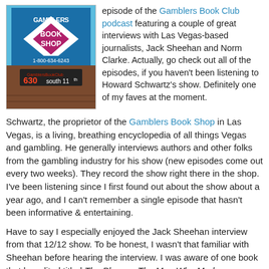[Figure (photo): Photo of the Gamblers Book Shop storefront sign showing 'GAMBLERS BOOK SHOP' in a blue diamond shape, phone number 1-800-634-6243, and address 630 South 11th]
episode of the Gamblers Book Club podcast featuring a couple of great interviews with Las Vegas-based journalists, Jack Sheehan and Norm Clarke. Actually, go check out all of the episodes, if you haven't been listening to Howard Schwartz's show. Definitely one of my faves at the moment.
Schwartz, the proprietor of the Gamblers Book Shop in Las Vegas, is a living, breathing encyclopedia of all things Vegas and gambling. He generally interviews authors and other folks from the gambling industry for his show (new episodes come out every two weeks). They record the show right there in the shop. I've been listening since I first found out about the show about a year ago, and I can't remember a single episode that hasn't been informative & entertaining.
Have to say I especially enjoyed the Jack Sheehan interview from that 12/12 show. To be honest, I wasn't that familiar with Sheehan before hearing the interview. I was aware of one book that he edited titled The Players: The Men Who Made